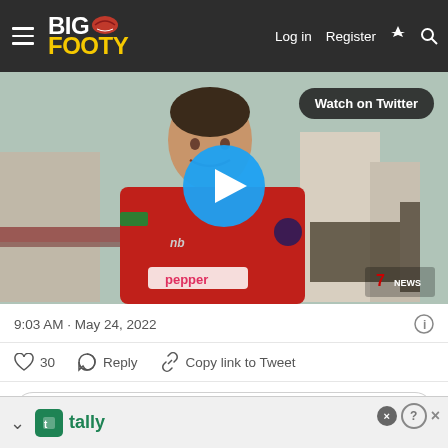BigFooty — Log in  Register
[Figure (screenshot): Embedded tweet video thumbnail showing a man in a Melbourne Demons red New Balance jersey smiling. A blue play button is centered on the image. A 'Watch on Twitter' badge appears top right. Channel 7 News watermark bottom right.]
9:03 AM · May 24, 2022
♡ 30   Reply   Copy link to Tweet
Read 1 reply
[Figure (screenshot): Bottom advertisement bar showing Tally logo in green]